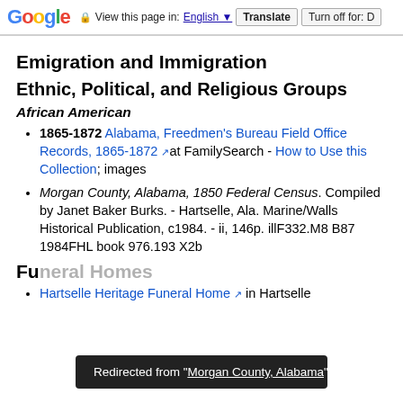Google  View this page in: English ▼  Translate  Turn off for: D
Emigration and Immigration
Ethnic, Political, and Religious Groups
African American
1865-1872 Alabama, Freedmen's Bureau Field Office Records, 1865-1872 at FamilySearch - How to Use this Collection; images
Morgan County, Alabama, 1850 Federal Census. Compiled by Janet Baker Burks. - Hartselle, Ala. Marine/Walls Historical Publication, c1984. - ii, 146p. illF332.M8 B87 1984FHL book 976.193 X2b
Fu...
Hartselle Heritage Funeral Home in Hartselle
Redirected from "Morgan County, Alabama"